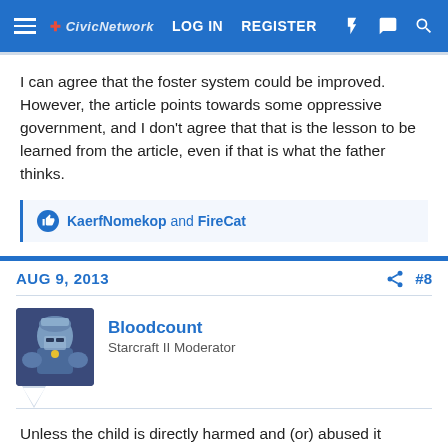LOG IN   REGISTER
I can agree that the foster system could be improved. However, the article points towards some oppressive government, and I don't agree that that is the lesson to be learned from the article, even if that is what the father thinks.
KaerfNomekop and FireCat
AUG 9, 2013   #8
Bloodcount
Starcraft II Moderator
Unless the child is directly harmed and (or) abused it should never, EVER be taken from it's parents.